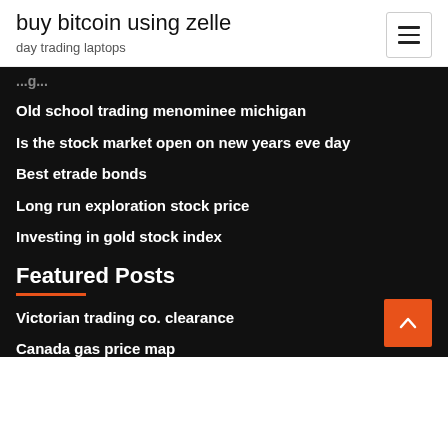buy bitcoin using zelle
day trading laptops
Old school trading menominee michigan
Is the stock market open on new years eve day
Best etrade bonds
Long run exploration stock price
Investing in gold stock index
Featured Posts
Victorian trading co. clearance
Canada gas price map